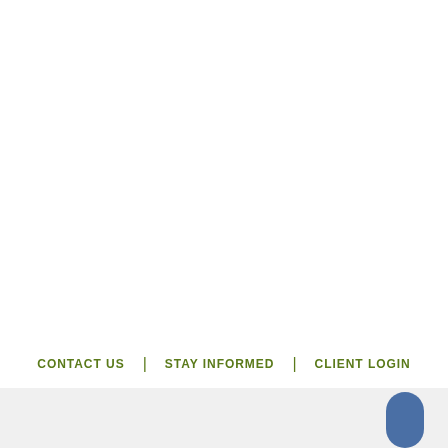CONTACT US | STAY INFORMED | CLIENT LOGIN